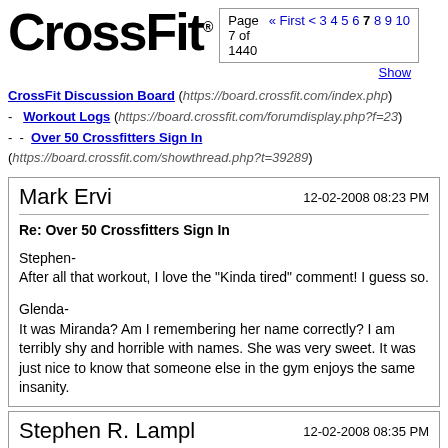[Figure (logo): CrossFit logo in bold black text]
Page 7 of 1440  « First < 3 4 5 6 7 8 9 10
CrossFit Discussion Board (https://board.crossfit.com/index.php)
- Workout Logs (https://board.crossfit.com/forumdisplay.php?f=23)
- - Over 50 Crossfitters Sign In (https://board.crossfit.com/showthread.php?t=39289)
Mark Ervi
12-02-2008 08:23 PM
Re: Over 50 Crossfitters Sign In
Stephen-
After all that workout, I love the "Kinda tired" comment! I guess so.

Glenda-
It was Miranda? Am I remembering her name correctly? I am terribly shy and horrible with names. She was very sweet. It was just nice to know that someone else in the gym enjoys the same insanity.
Stephen R. Lampl
12-02-2008 08:35 PM
Re: Over 50 Crossfitters Sign In